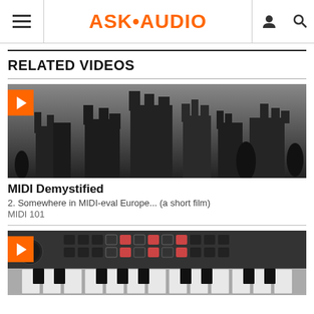ASK•AUDIO
RELATED VIDEOS
[Figure (screenshot): Video thumbnail showing a dark grayscale image of a medieval castle with a play button overlay]
MIDI Demystified
2. Somewhere in MIDI-eval Europe... (a short film)
MIDI 101
[Figure (screenshot): Video thumbnail showing a grayscale image of a MIDI keyboard controller with a play button overlay]